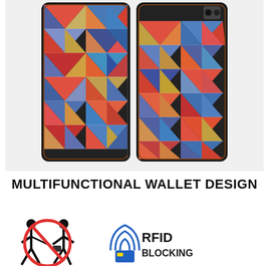[Figure (photo): Two colorful triangle geometric patterned phone wallet cases shown side by side — front/back views. The pattern features multi-colored triangles in red, blue, orange, gold, teal, and white with intricate mandala-like designs within each triangle. The cases appear to be for a Samsung Galaxy smartphone.]
MULTIFUNCTIONAL WALLET DESIGN
[Figure (infographic): RFID blocking infographic: black silhouette icon of two people with a red circle-slash no sign indicating theft prevention, next to a blue RFID blocking icon with the text 'RFID BLOCKING' in bold.]